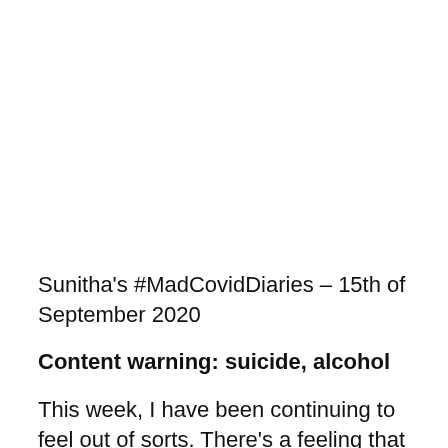Sunitha's #MadCovidDiaries – 15th of September 2020
Content warning: suicide, alcohol
This week, I have been continuing to feel out of sorts. There's a feeling that I can't quite shake that is like feeling or coming off or...